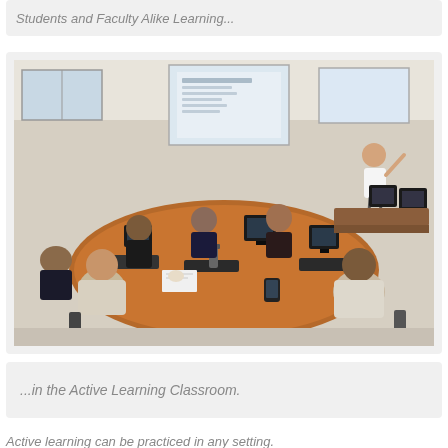Students and Faculty Alike Learning...
[Figure (photo): People seated around a large oval wooden table in an active learning classroom, with computer monitors on the table. A presenter/instructor stands at the front of the room gesturing toward a projected presentation on a whiteboard. Several participants are listening and watching the screen.]
...in the Active Learning Classroom.
Active learning can be practiced in any setting.